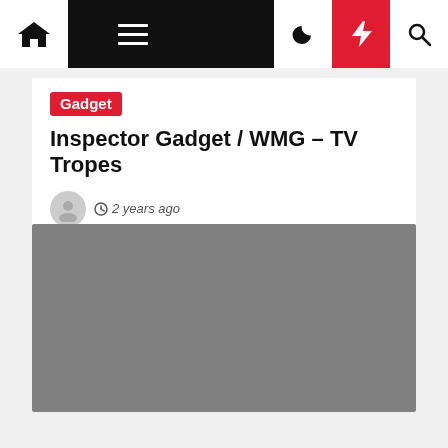Navigation bar with home, menu, moon, bolt, and search icons
Gadget
Inspector Gadget / WMG – TV Tropes
2 years ago
[Figure (photo): Gray placeholder image block]